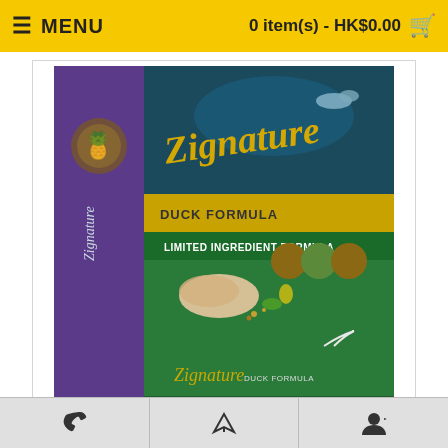☰ MENU   0 item(s) - HK$0.00 🛒
[Figure (photo): Zignature Duck Formula Limited Ingredient Formula dog food bag, green and purple packaging with gold script logo and duck imagery]
Click Image for Gallery
Brand: Zignature
Product Code: DFGZN052
Availability: In Stock
Phone | Send | Account